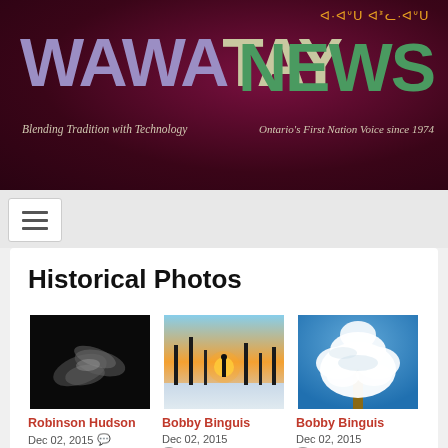ᐊ·ᐊᐡᑌ ᐊᕑᓚ·ᐊᐡᑌ
WAWATAY NEWS
Blending Tradition with Technology
Ontario's First Nation Voice since 1974
[Figure (screenshot): Navigation hamburger menu button]
Historical Photos
[Figure (photo): Black and white photo of hands]
Robinson Hudson
Dec 02, 2015
0
[Figure (photo): Winter sunset landscape with trees and snow]
Bobby Binguis
Dec 02, 2015
0
[Figure (photo): Snow-covered tree against blue sky]
Bobby Binguis
Dec 02, 2015
0